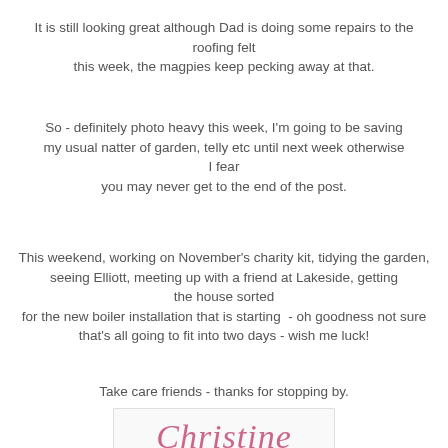It is still looking great although Dad is doing some repairs to the roofing felt this week, the magpies keep pecking away at that.
So - definitely photo heavy this week, I'm going to be saving my usual natter of garden, telly etc until next week otherwise I fear you may never get to the end of the post.
This weekend, working on November's charity kit, tidying the garden, seeing Elliott, meeting up with a friend at Lakeside, getting the house sorted for the new boiler installation that is starting  - oh goodness not sure that's all going to fit into two days - wish me luck!
Take care friends - thanks for stopping by.
[Figure (illustration): Handwritten signature reading 'Christine' in pink/rose cursive script on a light background]